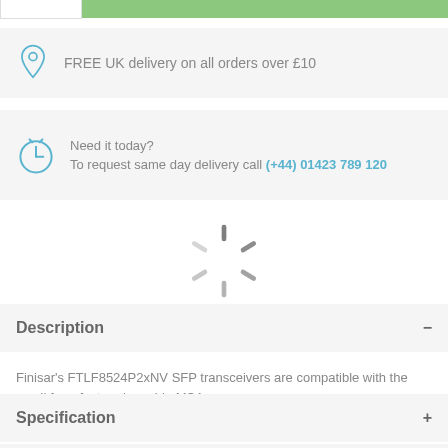FREE UK delivery on all orders over £10
Need it today? To request same day delivery call (+44) 01423 789 120
[Figure (other): Loading spinner / activity indicator]
Description
Finisar's FTLF8524P2xNV SFP transceivers are compatible with the small form factor pluggable MSA.
Specification